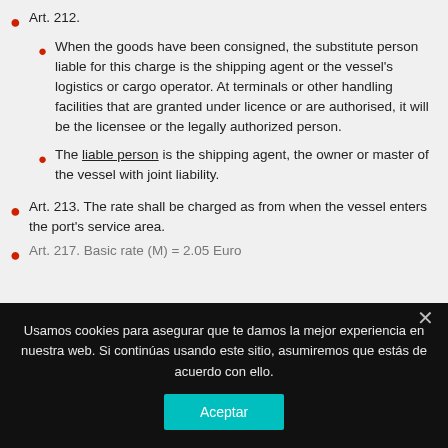Art. 212.
When the goods have been consigned, the substitute person liable for this charge is the shipping agent or the vessel's logistics or cargo operator. At terminals or other handling facilities that are granted under licence or are authorised, it will be the licensee or the legally authorized person.
The liable person is the shipping agent, the owner or master of the vessel with joint liability.
Art. 213. The rate shall be charged as from when the vessel enters the port's service area.
Art. 217. Basic rate (M) = 2.05 Euro
Usamos cookies para asegurar que te damos la mejor experiencia en nuestra web. Si continúas usando este sitio, asumiremos que estás de acuerdo con ello.